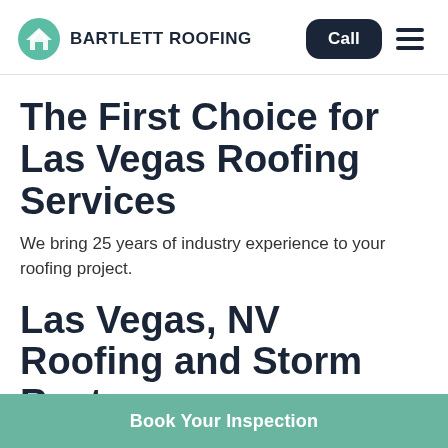BARTLETT ROOFING — Call [button] [hamburger menu]
The First Choice for Las Vegas Roofing Services
We bring 25 years of industry experience to your roofing project.
Las Vegas, NV Roofing and Storm Restoration
Book Your Inspection